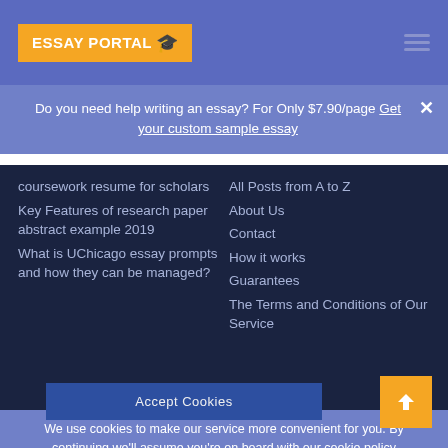ESSAY PORTAL 🎓
Do you need help writing an essay? For Only $7.90/page Get your custom sample essay
coursework resume for scholars
Key Features of research paper abstract example 2019
What is UChicago essay prompts and how they can be managed?
All Posts from A to Z
About Us
Contact
How it works
Guarantees
The Terms and Conditions of Our Service
We use cookies to make our service more convenient for you. By continuing we'll assume you're on board with our cookie policy